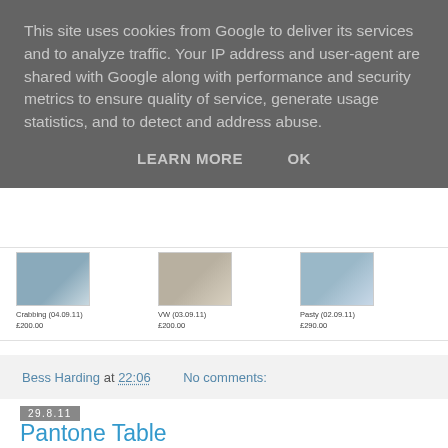This site uses cookies from Google to deliver its services and to analyze traffic. Your IP address and user-agent are shared with Google along with performance and security metrics to ensure quality of service, generate usage statistics, and to detect and address abuse.
LEARN MORE    OK
[Figure (photo): Three product thumbnail images: Crabbing (04.09.11) £200.00, VW (03.09.11) £200.00, Pasty (02.09.11) £290.00]
Bess Harding at 22:06    No comments:
29.8.11
Pantone Table
[Figure (photo): Photo of a table with a striped blue pattern surface and a red/white textile draped over it]
You've probably seen all the Pantone merchandise